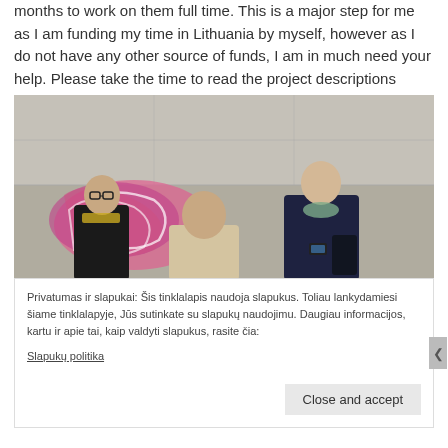months to work on them full time. This is a major step for me as I am funding my time in Lithuania by myself, however as I do not have any other source of funds, I am in much need your help. Please take the time to read the project descriptions below and I hope you will find them as special as I do.
[Figure (photo): Three young people standing in front of a graffiti-covered concrete wall. A man with glasses and a scarf on the left, a woman with light hair in the middle, and a woman in a dark jacket looking at her phone on the right.]
Privatumas ir slapukai: Šis tinklalapis naudoja slapukus. Toliau lankydamiesi šiame tinklalapyje, Jūs sutinkate su slapukų naudojimu. Daugiau informacijos, kartu ir apie tai, kaip valdyti slapukus, rasite čia: Slapukų politika